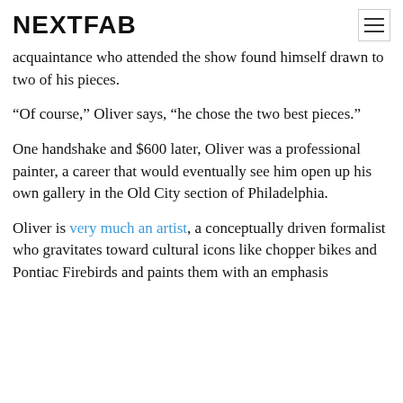NEXTFAB
acquaintance who attended the show found himself drawn to two of his pieces.
“Of course,” Oliver says, “he chose the two best pieces.”
One handshake and $600 later, Oliver was a professional painter, a career that would eventually see him open up his own gallery in the Old City section of Philadelphia.
Oliver is very much an artist, a conceptually driven formalist who gravitates toward cultural icons like chopper bikes and Pontiac Firebirds and paints them with an emphasis